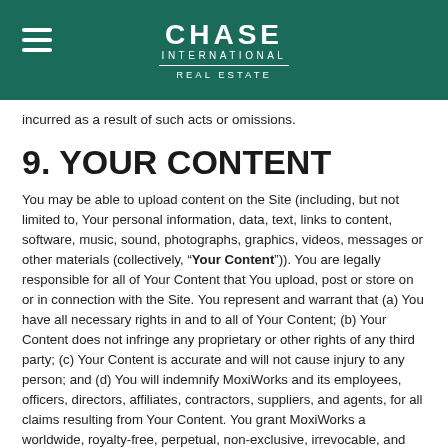CHASE INTERNATIONAL REAL ESTATE
incurred as a result of such acts or omissions.
9. YOUR CONTENT
You may be able to upload content on the Site (including, but not limited to, Your personal information, data, text, links to content, software, music, sound, photographs, graphics, videos, messages or other materials (collectively, “Your Content”)). You are legally responsible for all of Your Content that You upload, post or store on or in connection with the Site. You represent and warrant that (a) You have all necessary rights in and to all of Your Content; (b) Your Content does not infringe any proprietary or other rights of any third party; (c) Your Content is accurate and will not cause injury to any person; and (d) You will indemnify MoxiWorks and its employees, officers, directors, affiliates, contractors, suppliers, and agents, for all claims resulting from Your Content. You grant MoxiWorks a worldwide, royalty-free, perpetual, non-exclusive, irrevocable, and fully sublicensable license to host and use Your Content in